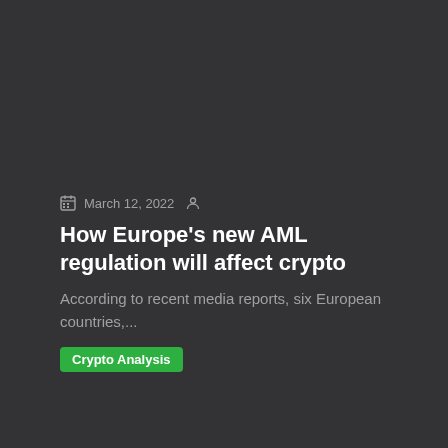March 12, 2022
How Europe's new AML regulation will affect crypto
According to recent media reports, six European countries,...
Crypto Analysis